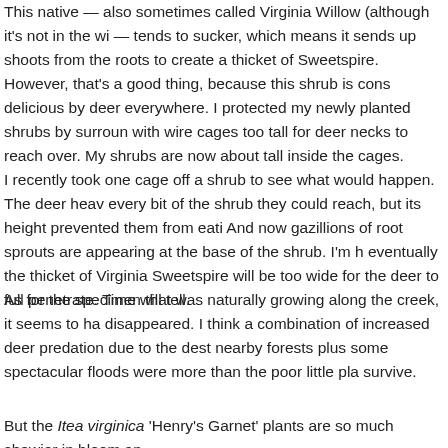This native — also sometimes called Virginia Willow (although it's not in the wi— tends to sucker, which means it sends up shoots from the roots to create a thicket of Sweetspire. However, that's a good thing, because this shrub is cons delicious by deer everywhere. I protected my newly planted shrubs by surroun with wire cages too tall for deer necks to reach over. My shrubs are now about tall inside the cages.
I recently took one cage off a shrub to see what would happen. The deer heav every bit of the shrub they could reach, but its height prevented them from eati And now gazillions of root sprouts are appearing at the base of the shrub. I'm h eventually the thicket of Virginia Sweetspire will be too wide for the deer to full penetrate. Time will tell.
As for the specimen that was naturally growing along the creek, it seems to ha disappeared. I think a combination of increased deer predation due to the dest nearby forests plus some spectacular floods were more than the poor little pla survive.
But the Itea virginica 'Henry's Garnet' plants are so much showier in bloom an